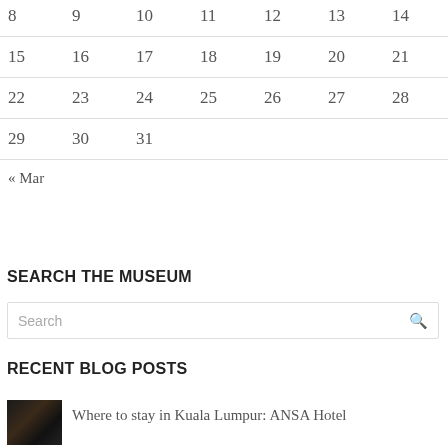| 8 | 9 | 10 | 11 | 12 | 13 | 14 |
| 15 | 16 | 17 | 18 | 19 | 20 | 21 |
| 22 | 23 | 24 | 25 | 26 | 27 | 28 |
| 29 | 30 | 31 |  |  |  |  |
« Mar
SEARCH THE MUSEUM
Search
RECENT BLOG POSTS
Where to stay in Kuala Lumpur: ANSA Hotel